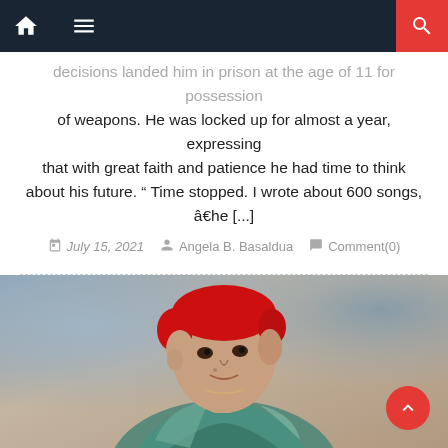Navigation bar with home, menu, and search icons
decisions landed him in prison at the age of 11 for possession of weapons. He was locked up for almost a year, expressing that with great faith and patience he had time to think about his future. " Time stopped. I wrote about 600 songs, â€he [...]
July 15, 2021  Angela B. Basaldua  Comment(0)
[Figure (photo): Young male with red dyed hair wearing a colorful hoodie, looking over his shoulder against a cloudy background]